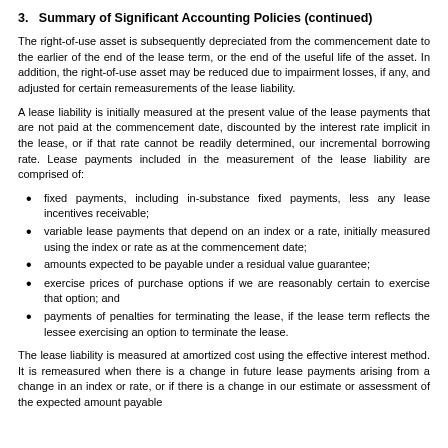3.   Summary of Significant Accounting Policies (continued)
The right-of-use asset is subsequently depreciated from the commencement date to the earlier of the end of the lease term, or the end of the useful life of the asset. In addition, the right-of-use asset may be reduced due to impairment losses, if any, and adjusted for certain remeasurements of the lease liability.
A lease liability is initially measured at the present value of the lease payments that are not paid at the commencement date, discounted by the interest rate implicit in the lease, or if that rate cannot be readily determined, our incremental borrowing rate. Lease payments included in the measurement of the lease liability are comprised of:
fixed payments, including in-substance fixed payments, less any lease incentives receivable;
variable lease payments that depend on an index or a rate, initially measured using the index or rate as at the commencement date;
amounts expected to be payable under a residual value guarantee;
exercise prices of purchase options if we are reasonably certain to exercise that option; and
payments of penalties for terminating the lease, if the lease term reflects the lessee exercising an option to terminate the lease.
The lease liability is measured at amortized cost using the effective interest method. It is remeasured when there is a change in future lease payments arising from a change in an index or rate, or if there is a change in our estimate or assessment of the expected amount payable under a residual value guarantee, or to reflect our assessment of whether we will exercise a purchase, extension or termination option.